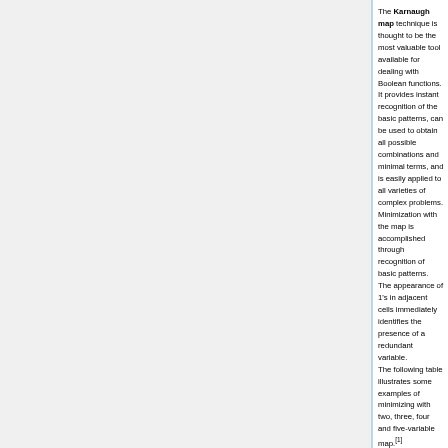The Karnaugh map technique is thought to be the most valuable tool available for dealing with Boolean functions. It provides instant recognition of the basic patterns, can be used to obtain all possible combinations and minimal terms, and is easily applied to all varieties of complex problems. Minimization with the map is accomplished through recognition of basic patterns.
The appearance of 1's in adjacent cells immediately identifies the presence of a redundant variable.
The following table illustrates some examples of minimizing with two, three, four and five-variable map.[1]
This table illustrates the grouping of one, two, four, eight and sixteen cells, depending on the number of inputs. For